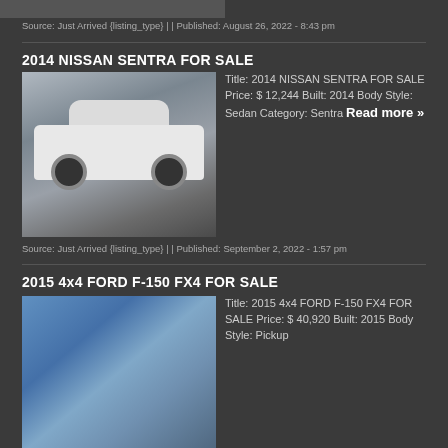[Figure (photo): Partial car photo at top of page (cropped)]
Source: Just Arrived {listing_type} | | Published: August 26, 2022 - 8:43 pm
2014 NISSAN SENTRA FOR SALE
[Figure (photo): White 2014 Nissan Sentra sedan parked in a car lot]
Title: 2014 NISSAN SENTRA FOR SALE Price: $ 12,244 Built: 2014 Body Style: Sedan Category: Sentra Read more »
Source: Just Arrived {listing_type} | | Published: September 2, 2022 - 1:57 pm
2015 4x4 FORD F-150 FX4 FOR SALE
[Figure (photo): Blue 2015 Ford F-150 FX4 pickup truck]
Title: 2015 4x4 FORD F-150 FX4 FOR SALE Price: $ 40,920 Built: 2015 Body Style: Pickup